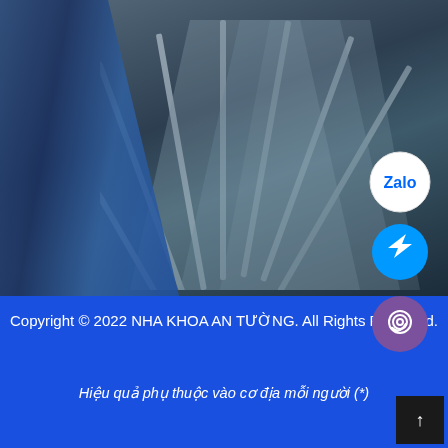[Figure (photo): Blurred background photo showing a person in blue jeans and fanned-out book pages with dark blue tonal overlay. Three social media icons (Zalo, Messenger, Viber) are overlaid on the right side of the image.]
Copyright © 2022 NHA KHOA AN TƯỜNG. All Rights Reserved.

Hiệu quả phụ thuộc vào cơ địa mỗi người (*)